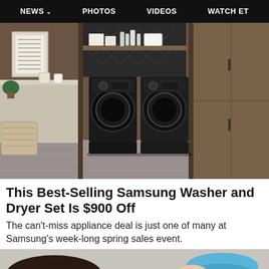NEWS  PHOTOS  VIDEOS  WATCH ET
[Figure (photo): A laundry room with dark wood cabinetry featuring two black Samsung front-load washer and dryer units on pedestals, with shelves above holding towels and toiletries, and a laundry basket visible on the left.]
This Best-Selling Samsung Washer and Dryer Set Is $900 Off
The can't-miss appliance deal is just one of many at Samsung's week-long spring sales event.
[Figure (photo): Partial view of a person and a blue object at the bottom of the page, partially cropped.]